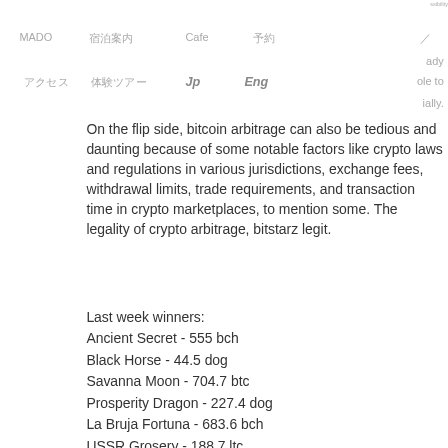ssibility
MADO　　　宿泊案内　　　Cafe　　　予約　　　/
ady
アクセス　　　体験ツアー　　　Jp　　　Eng　　　ole to
ially.
On the flip side, bitcoin arbitrage can also be tedious and daunting because of some notable factors like crypto laws and regulations in various jurisdictions, exchange fees, withdrawal limits, trade requirements, and transaction time in crypto marketplaces, to mention some. The legality of crypto arbitrage, bitstarz legit.
Last week winners:
Ancient Secret - 555 bch
Black Horse - 44.5 dog
Savanna Moon - 704.7 btc
Prosperity Dragon - 227.4 dog
La Bruja Fortuna - 683.6 bch
USSR Grosery - 188.7 ltc